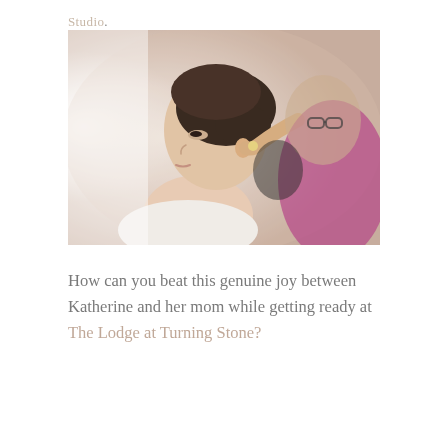Studio.
[Figure (photo): A woman in profile having her hair styled by a man wearing glasses and a magenta/purple top. The woman is in a white robe, looking serene. The setting is bright and airy.]
How can you beat this genuine joy between Katherine and her mom while getting ready at The Lodge at Turning Stone?